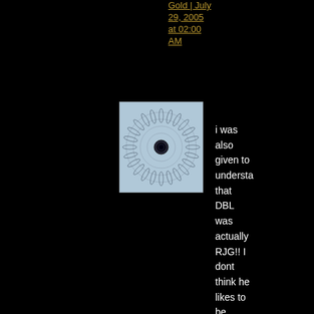Gold | July 29, 2005 at 02:00 AM
[Figure (photo): Small square avatar image showing a circular spiral/geometric pattern on a light blue background with a dark center circle]
i was also given to understand that DBL was actually RJG!! I dont think he likes to be reminded of this album, as does his one for